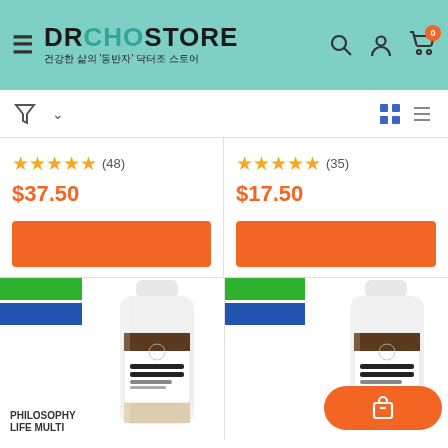DRCHOSTORE 건강한 삶의 '동반자' 닥터조 스토어
★★★★★ (48) $37.50
★★★★★ (35) $17.50
[Figure (screenshot): Two Philosophy Life Multi supplement bottles (white) with green and blue label badges visible, orange add-to-cart button overlay on second card]
PHILOSOPHY LIFE MULTI